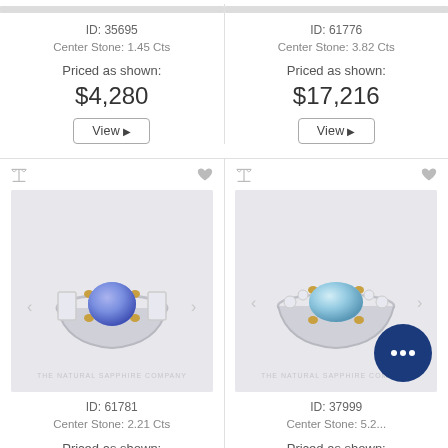ID: 35695
Center Stone: 1.45 Cts
Priced as shown:
$4,280
ID: 61776
Center Stone: 3.82 Cts
Priced as shown:
$17,216
[Figure (photo): Jewelry ring with blue sapphire center stone and baguette diamond side stones, silver band, ID 61781]
[Figure (photo): Jewelry ring with light blue aquamarine oval center stone and diamond halo side stones, silver band, ID 37999]
ID: 61781
Center Stone: 2.21 Cts
Priced as shown:
ID: 37999
Center Stone: 5.2 Cts
Priced as shown: